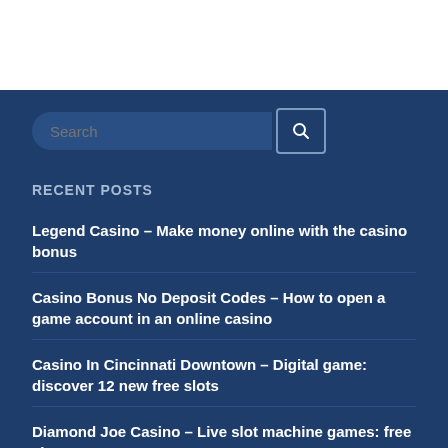[Figure (screenshot): White header area at top of webpage]
Search
RECENT POSTS
Legend Casino – Make money online with the casino bonus
Casino Bonus No Deposit Codes – How to open a game account in an online casino
Casino In Cincinnati Downtown – Digital game: discover 12 new free slots
Diamond Joe Casino – Live slot machine games: free slot